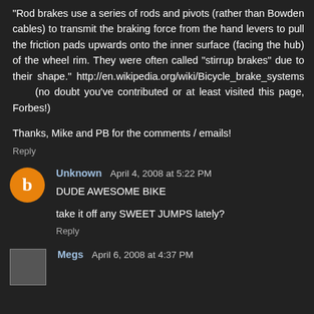"Rod brakes use a series of rods and pivots (rather than Bowden cables) to transmit the braking force from the hand levers to pull the friction pads upwards onto the inner surface (facing the hub) of the wheel rim. They were often called "stirrup brakes" due to their shape." http://en.wikipedia.org/wiki/Bicycle_brake_systems (no doubt you've contributed or at least visited this page, Forbes!)
Thanks, Mike and PB for the comments / emails!
Reply
Unknown April 4, 2008 at 5:22 PM
DUDE AWESOME BIKE
take it off any SWEET JUMPS lately?
Reply
Megs April 6, 2008 at 4:37 PM